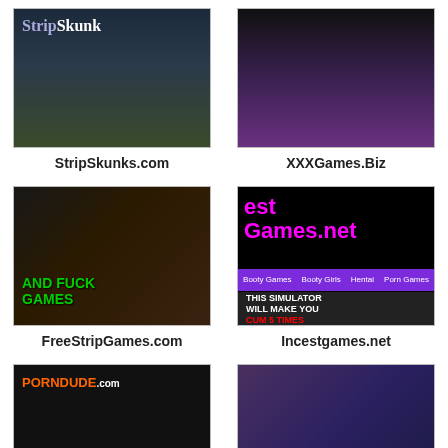[Figure (screenshot): Screenshot of StripSkunks.com website]
StripSkunks.com
[Figure (screenshot): Screenshot of XXXGames.Biz website]
XXXGames.Biz
[Figure (screenshot): Screenshot of FreeStripGames.com website]
FreeStripGames.com
[Figure (screenshot): Screenshot of Incestgames.net website]
Incestgames.net
[Figure (screenshot): Screenshot of PornDude.com website]
[Figure (screenshot): Screenshot of another adult games website]